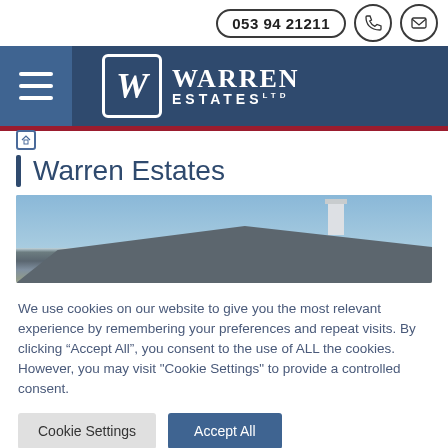053 94 21211
[Figure (logo): Warren Estates logo with W monogram in bordered box and stylized text]
Warren Estates
[Figure (photo): Photograph of a house rooftop with chimney against a blue sky]
We use cookies on our website to give you the most relevant experience by remembering your preferences and repeat visits. By clicking “Accept All”, you consent to the use of ALL the cookies. However, you may visit "Cookie Settings" to provide a controlled consent.
Cookie Settings  Accept All